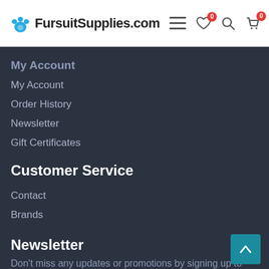FursuitSupplies.com
My Account
My Account
Order History
Newsletter
Gift Certificates
Customer Service
Contact
Brands
Newsletter
Don't miss any updates or promotions by signing up to